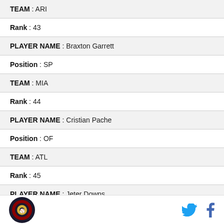TEAM : ARI
Rank : 43
PLAYER NAME : Braxton Garrett
Position : SP
TEAM : MIA
Rank : 44
PLAYER NAME : Cristian Pache
Position : OF
TEAM : ATL
Rank : 45
PLAYER NAME : Jeter Downs
Logo | Twitter | Facebook